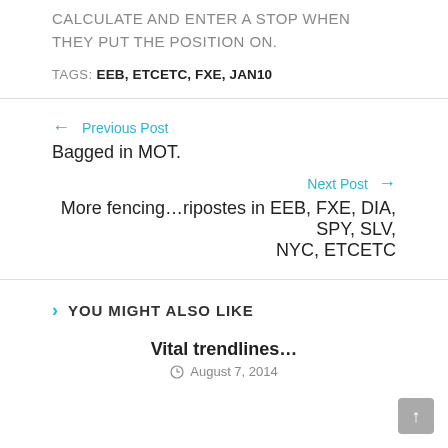CALCULATE AND ENTER A STOP WHEN THEY PUT THE POSITION ON.
TAGS: EEB, ETCETC, FXE, JAN10
← Previous Post
Bagged in MOT.
Next Post →
More fencing…ripostes in EEB, FXE, DIA, SPY, SLV, NYC, ETCETC
YOU MIGHT ALSO LIKE
Vital trendlines…
August 7, 2014